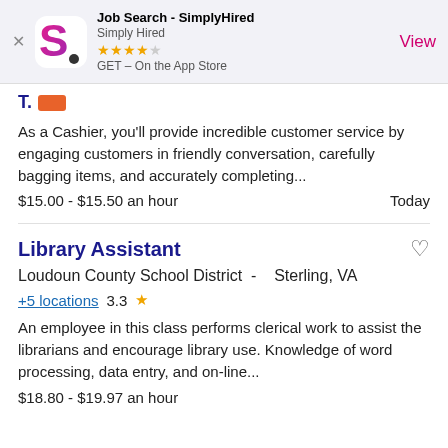[Figure (screenshot): App Store banner for Job Search - SimplyHired app by Simply Hired, 4-star rating, GET on the App Store, with View button]
T... [partial job title, truncated]
As a Cashier, you'll provide incredible customer service by engaging customers in friendly conversation, carefully bagging items, and accurately completing...
$15.00 - $15.50 an hour   Today
Library Assistant
Loudoun County School District -   Sterling, VA
+5 locations  3.3 ★
An employee in this class performs clerical work to assist the librarians and encourage library use. Knowledge of word processing, data entry, and on-line...
$18.80 - $19.97 an hour